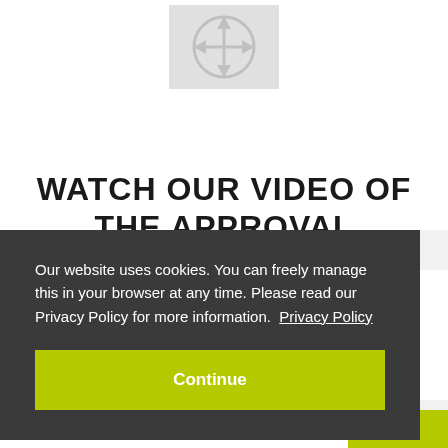[Figure (logo): Circular crosshair/compass logo icon in light gray]
WATCH OUR VIDEO OF THE APPROVAL PROCESS
Our website uses cookies. You can freely manage this in your browser at any time. Please read our Privacy Policy for more information. Privacy Policy
Continue